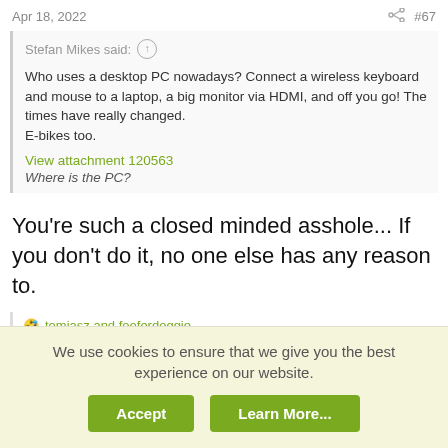Apr 18, 2022   #67
Stefan Mikes said: Who uses a desktop PC nowadays? Connect a wireless keyboard and mouse to a laptop, a big monitor via HDMI, and off you go! The times have really changed. E-bikes too.
View attachment 120563
Where is the PC?
You're such a closed minded asshole... If you don't do it, no one else has any reason to.
🤣 tomjasz and fooferdoggie
retiredNH
Well-Known Member
We use cookies to ensure that we give you the best experience on our website.